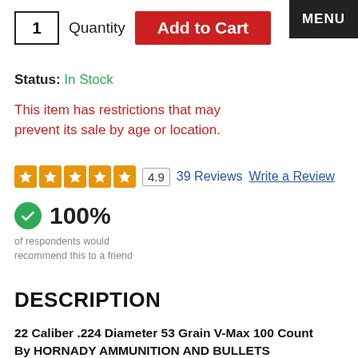1  Quantity  Add to Cart  MENU
Status: In Stock
This item has restrictions that may prevent its sale by age or location.
4.9  39 Reviews  Write a Review
100% of respondents would recommend this to a friend
DESCRIPTION
22 Caliber .224 Diameter 53 Grain V-Max 100 Count By HORNADY AMMUNITION AND BULLETS